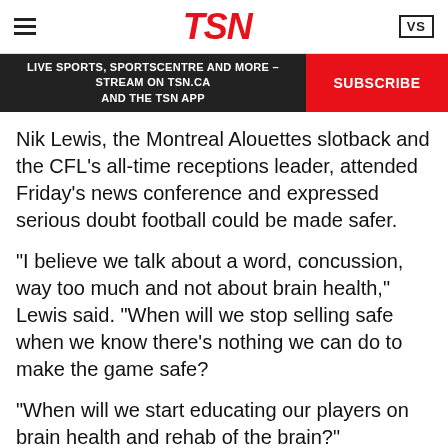TSN
LIVE SPORTS, SPORTSCENTRE AND MORE – STREAM ON TSN.CA AND THE TSN APP
Nik Lewis, the Montreal Alouettes slotback and the CFL's all-time receptions leader, attended Friday's news conference and expressed serious doubt football could be made safer.
"I believe we talk about a word, concussion, way too much and not about brain health," Lewis said. "When will we stop selling safe when we know there's nothing we can do to make the game safe?
"When will we start educating our players on brain health and rehab of the brain?"
Ambrosie replied: "What I can say is if we can do more on education we will ... can we do more to educate the players? I'm sure we can."